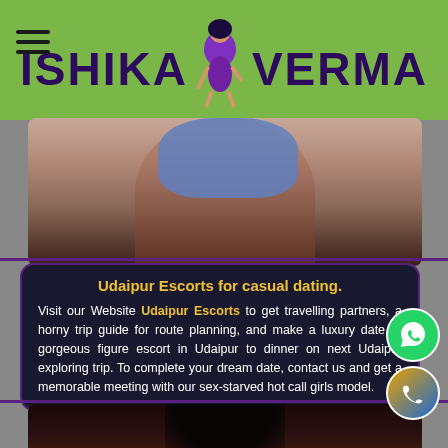ISHIKA VERMA
[Figure (photo): Photo of a woman in blue outfit, partial view, upper body]
Udaipur Escorts for casual dating.
Visit our Website Udaipur Escorts to get travelling partners, a horny trip guide for route planning, and make a luxury date. A gorgeous figure escort in Udaipur to dinner on next Udaipur exploring trip. To complete your dream date, contact us and get a memorable meeting with our sex-starved hot call girls model.
[Figure (photo): Photo of a woman, dark hair, partial view from top]
[Figure (other): WhatsApp contact button (green circle)]
[Figure (other): Phone call contact button (blue/gold circle)]